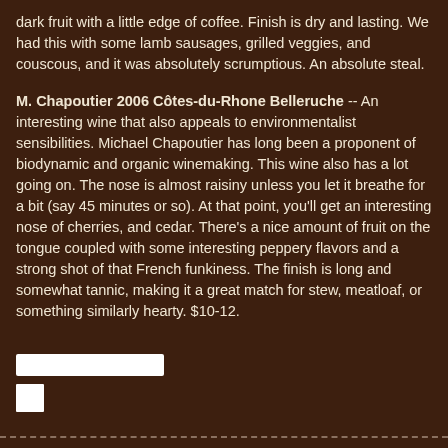dark fruit with a little edge of coffee. Finish is dry and lasting. We had this with some lamb sausages, grilled veggies, and couscous, and it was absolutely scrumptious. An absolute steal.
M. Chapoutier 2006 Côtes-du-Rhone Belleruche -- An interesting wine that also appeals to environmentalist sensibilities. Michael Chapoutier has long been a proponent of biodynamic and organic winemaking. This wine also has a lot going on. The nose is almost raisiny unless you let it breathe for a bit (say 45 minutes or so). At that point, you'll get an interesting nose of cherries, and cedar. There's a nice amount of fruit on the tongue coupled with some interesting peppery flavors and a strong shot of that French funkiness. The finish is long and somewhat tannic, making it a great match for stew, meatloaf, or something similarly hearty. $10-12.
[Figure (other): A white rectangular UI bar element]
[Figure (other): A small white square UI element]